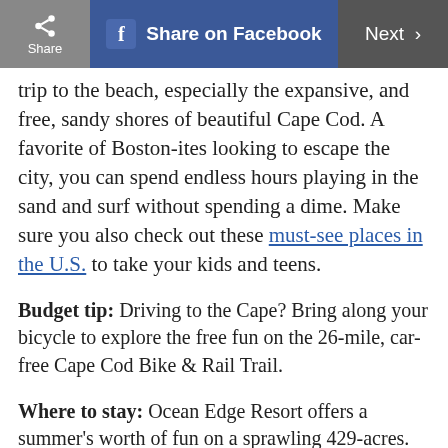Share | Share on Facebook | Next >
trip to the beach, especially the expansive, and free, sandy shores of beautiful Cape Cod. A favorite of Boston-ites looking to escape the city, you can spend endless hours playing in the sand and surf without spending a dime. Make sure you also check out these must-see places in the U.S. to take your kids and teens.
Budget tip: Driving to the Cape? Bring along your bicycle to explore the free fun on the 26-mile, car-free Cape Cod Bike & Rail Trail.
Where to stay: Ocean Edge Resort offers a summer's worth of fun on a sprawling 429-acres. Highlights include kayaking, family basketball tournaments, outdoor movies, kite making, s'mores